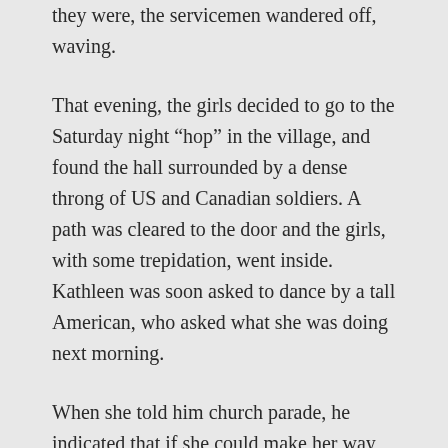they were, the servicemen wandered off, waving.
That evening, the girls decided to go to the Saturday night “hop” in the village, and found the hall surrounded by a dense throng of US and Canadian soldiers. A path was cleared to the door and the girls, with some trepidation, went inside. Kathleen was soon asked to dance by a tall American, who asked what she was doing next morning.
When she told him church parade, he indicated that if she could make her way to the top of the lane between the houses and the church between noon and 1pm she might “see a certain VIP” who would be visiting them. Pledged to secrecy, he would tell her no more — and said she shouldn’t